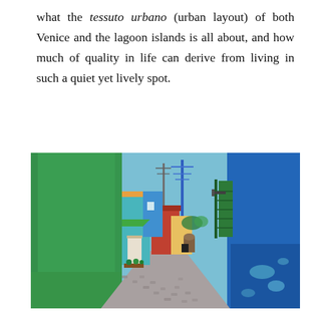what the tessuto urbano (urban layout) of both Venice and the lagoon islands is all about, and how much of quality in life can derive from living in such a quiet yet lively spot.
[Figure (photo): A narrow cobblestone alleyway in Burano (Venice lagoon island) flanked by brightly colored buildings: a large green wall on the left, a blue wall on the right with a green shutter, and colorful red, orange, and blue buildings receding into the distance down the lane. Antennas and a blue pole are visible against a bright sky.]